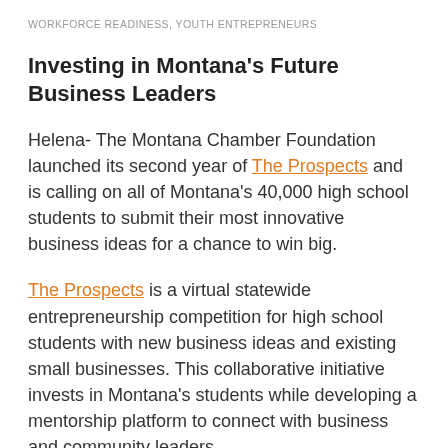WORKFORCE READINESS, YOUTH ENTREPRENEURS
Investing in Montana's Future Business Leaders
Helena- The Montana Chamber Foundation launched its second year of The Prospects and is calling on all of Montana's 40,000 high school students to submit their most innovative business ideas for a chance to win big.
The Prospects is a virtual statewide entrepreneurship competition for high school students with new business ideas and existing small businesses. This collaborative initiative invests in Montana's students while developing a mentorship platform to connect with business and community leaders.